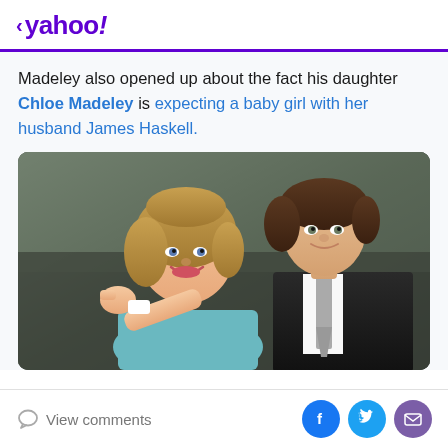< yahoo!
Madeley also opened up about the fact his daughter Chloe Madeley is expecting a baby girl with her husband James Haskell.
[Figure (photo): Photo of a smiling blonde woman and a tall brown-haired man standing together, the woman pointing toward the camera]
View comments